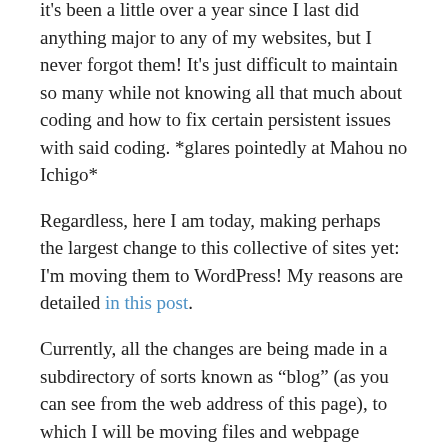it's been a little over a year since I last did anything major to any of my websites, but I never forgot them! It's just difficult to maintain so many while not knowing all that much about coding and how to fix certain persistent issues with said coding. *glares pointedly at Mahou no Ichigo*
Regardless, here I am today, making perhaps the largest change to this collective of sites yet: I'm moving them to WordPress! My reasons are detailed in this post.
Currently, all the changes are being made in a subdirectory of sorts known as "blog" (as you can see from the web address of this page), to which I will be moving files and webpage content. My goal here is to consolidate, because, as I have